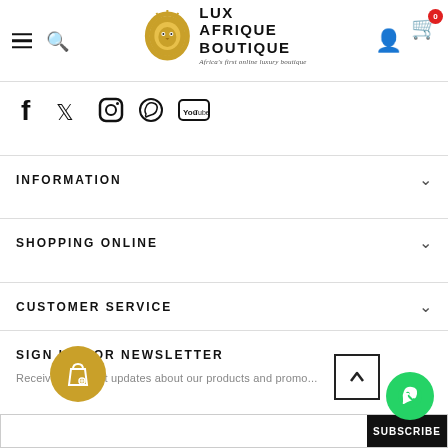LUX AFRIQUE BOUTIQUE — Africa's first online luxury boutique
[Figure (logo): Golden lion head logo with LUX AFRIQUE BOUTIQUE text]
[Figure (infographic): Social media icons: Facebook, Twitter, Instagram, WhatsApp, YouTube]
INFORMATION
SHOPPING ONLINE
CUSTOMER SERVICE
SIGN UP FOR NEWSLETTER
Receive our latest updates about our products and promo...